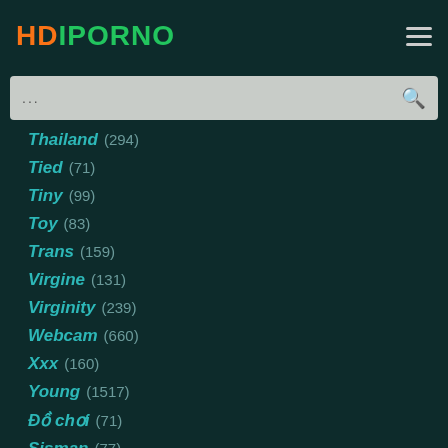HDIPORNO
Thailand (294)
Tied (71)
Tiny (99)
Toy (83)
Trans (159)
Virgine (131)
Virginity (239)
Webcam (660)
Xxx (160)
Young (1517)
Đồ chơi (71)
Şişman (77)
의 (1545)
한국 (596)